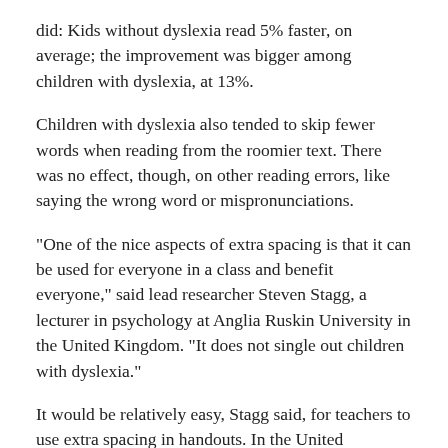did: Kids without dyslexia read 5% faster, on average; the improvement was bigger among children with dyslexia, at 13%.
Children with dyslexia also tended to skip fewer words when reading from the roomier text. There was no effect, though, on other reading errors, like saying the wrong word or mispronunciations.
"One of the nice aspects of extra spacing is that it can be used for everyone in a class and benefit everyone," said lead researcher Steven Stagg, a lecturer in psychology at Anglia Ruskin University in the United Kingdom. "It does not single out children with dyslexia."
It would be relatively easy, Stagg said, for teachers to use extra spacing in handouts. In the United Kingdom, he noted, a petition is circulating to get exam boards to print tests in that format. And some companies make